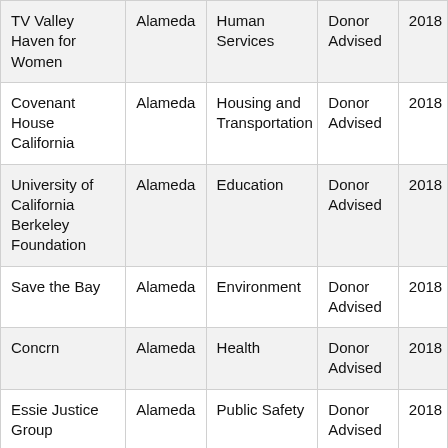| Organization | County | Focus Area | Grant Type | Year |
| --- | --- | --- | --- | --- |
| TV Valley Haven for Women | Alameda | Human Services | Donor Advised | 2018 |
| Covenant House California | Alameda | Housing and Transportation | Donor Advised | 2018 |
| University of California Berkeley Foundation | Alameda | Education | Donor Advised | 2018 |
| Save the Bay | Alameda | Environment | Donor Advised | 2018 |
| Concrn | Alameda | Health | Donor Advised | 2018 |
| Essie Justice Group | Alameda | Public Safety | Donor Advised | 2018 |
| Raheem AI | Alameda | Public Safety | Donor Advised | 2018 |
| California League of Conservation Voters | Alameda | Environment | Donor Advised | 2018 |